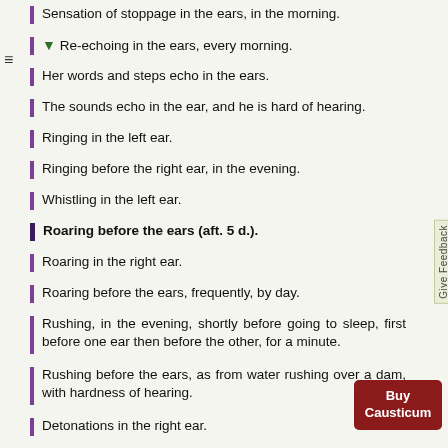Sensation of stoppage in the ears, in the morning.
Re-echoing in the ears, every morning.
Her words and steps echo in the ears.
The sounds echo in the ear, and he is hard of hearing.
Ringing in the left ear.
Ringing before the right ear, in the evening.
Whistling in the left ear.
Roaring before the ears (aft. 5 d.).
Roaring in the right ear.
Roaring before the ears, frequently, by day.
Rushing, in the evening, shortly before going to sleep, first before one ear then before the other, for a minute.
Rushing before the ears, as from water rushing over a dam, with hardness of hearing.
Detonations in the right ear.